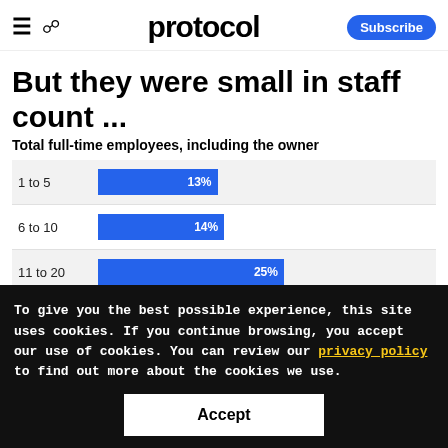protocol | Subscribe
But they were small in staff count ...
Total full-time employees, including the owner
[Figure (bar-chart): Total full-time employees, including the owner]
To give you the best possible experience, this site uses cookies. If you continue browsing, you accept our use of cookies. You can review our privacy policy to find out more about the cookies we use.
Accept